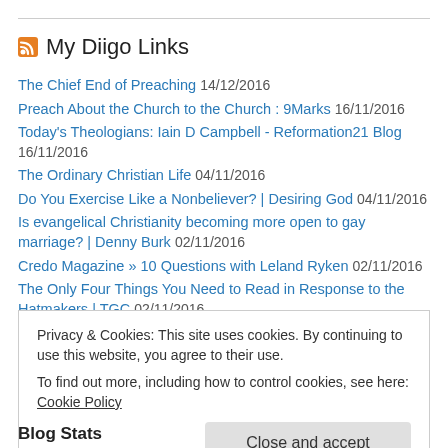My Diigo Links
The Chief End of Preaching 14/12/2016
Preach About the Church to the Church : 9Marks 16/11/2016
Today's Theologians: Iain D Campbell - Reformation21 Blog 16/11/2016
The Ordinary Christian Life 04/11/2016
Do You Exercise Like a Nonbeliever? | Desiring God 04/11/2016
Is evangelical Christianity becoming more open to gay marriage? | Denny Burk 02/11/2016
Credo Magazine » 10 Questions with Leland Ryken 02/11/2016
The Only Four Things You Need to Read in Response to the Hatmakers | TGC 02/11/2016
Privacy & Cookies: This site uses cookies. By continuing to use this website, you agree to their use. To find out more, including how to control cookies, see here: Cookie Policy
Close and accept
Blog Stats